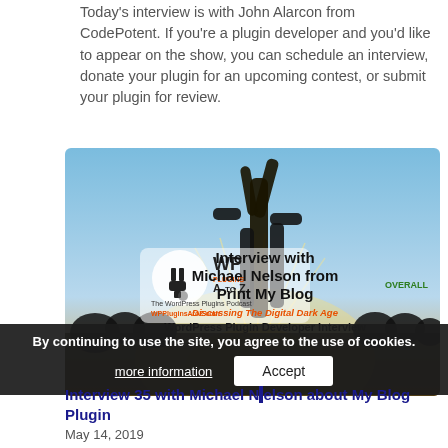Today's interview is with John Alarcon from CodePotent. If you're a plugin developer and you'd like to appear on the show, you can schedule an interview, donate your plugin for an upcoming contest, or submit your plugin for review.
[Figure (photo): Promotional image for WP Plugins A to Z podcast interview with Michael Nelson from Print My Blog, with cactus silhouette against sky background. Text overlay reads: 'Interview with Michael Nelson from Print My Blog - Discussing The Digital Dark Age - WordPress Plugin Developer Interview'. Includes WP Plugins AtoZ logo and Overall logo.]
By continuing to use the site, you agree to the use of cookies.
more information
Accept
Interview 35 with Michael Nelson about My Blog Plugin
May 14, 2019